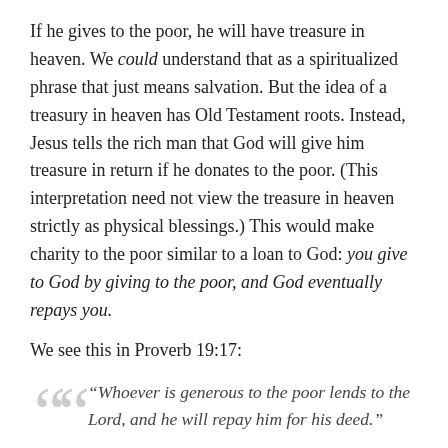If he gives to the poor, he will have treasure in heaven. We could understand that as a spiritualized phrase that just means salvation. But the idea of a treasury in heaven has Old Testament roots. Instead, Jesus tells the rich man that God will give him treasure in return if he donates to the poor. (This interpretation need not view the treasure in heaven strictly as physical blessings.) This would make charity to the poor similar to a loan to God: you give to God by giving to the poor, and God eventually repays you.
We see this in Proverb 19:17:
“Whoever is generous to the poor lends to the Lord, and he will repay him for his deed.”